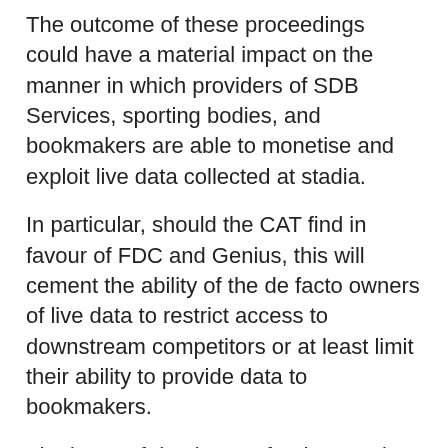The outcome of these proceedings could have a material impact on the manner in which providers of SDB Services, sporting bodies, and bookmakers are able to monetise and exploit live data collected at stadia.
In particular, should the CAT find in favour of FDC and Genius, this will cement the ability of the de facto owners of live data to restrict access to downstream competitors or at least limit their ability to provide data to bookmakers.
The issue of dominance for the supply of LLMD will require a detailed review of the dynamics between sports betting and sports data, in particular as between the supply- and demand-side substitutability for bookmakers providing their services to downstream consumers.
Suppliers of SDB Services such as Sportradar can obtain LLMD by arranging for so-called “scouts” to watch live television or online streamed coverage of matches